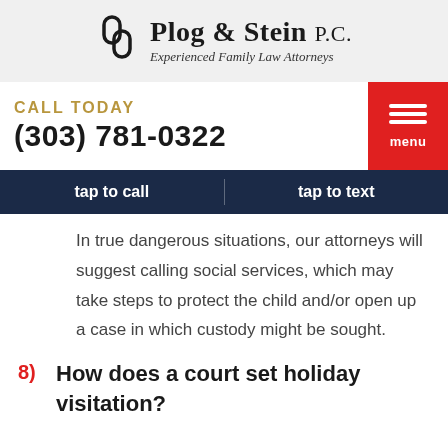Plog & Stein P.C. — Experienced Family Law Attorneys
CALL TODAY
(303) 781-0322
tap to call   tap to text
In true dangerous situations, our attorneys will suggest calling social services, which may take steps to protect the child and/or open up a case in which custody might be sought.
8) How does a court set holiday visitation?